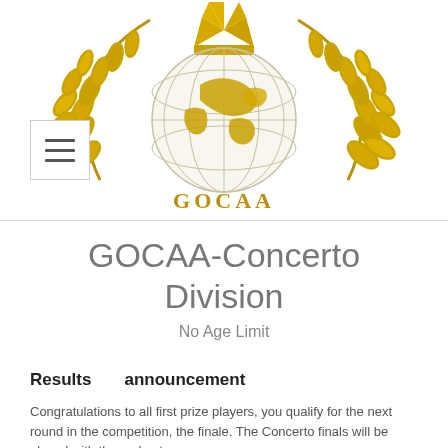Messenger
[Figure (logo): GOCAA gold laurel wreath logo with globe and crown, text 'GOCAA' below]
GOCAA-Concerto Division
No Age Limit
Results      announcement
Congratulations to all first prize players, you qualify for the next round in the competition, the finale. The Concerto finals will be played with the orchestra